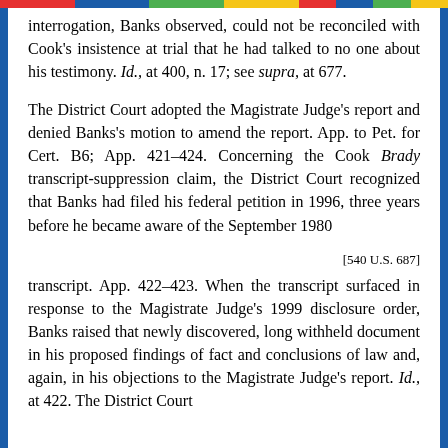interrogation, Banks observed, could not be reconciled with Cook's insistence at trial that he had talked to no one about his testimony. Id., at 400, n. 17; see supra, at 677.
The District Court adopted the Magistrate Judge's report and denied Banks's motion to amend the report. App. to Pet. for Cert. B6; App. 421–424. Concerning the Cook Brady transcript-suppression claim, the District Court recognized that Banks had filed his federal petition in 1996, three years before he became aware of the September 1980
[540 U.S. 687]
transcript. App. 422–423. When the transcript surfaced in response to the Magistrate Judge's 1999 disclosure order, Banks raised that newly discovered, long withheld document in his proposed findings of fact and conclusions of law and, again, in his objections to the Magistrate Judge's report. Id., at 422. The District Court